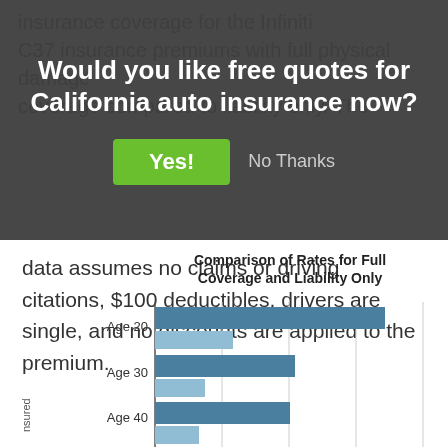Would you like free quotes for California auto insurance now?
insurance coverage for the Infiniti C37 insurance premiums with full physical damage coverage compared to liability only. The data assumes no claims or driving citations, $100 deductibles, drivers are single, and no discounts are applied to the premium.
[Figure (grouped-bar-chart): Comparison of Rates for Full Coverage and Liability Only]